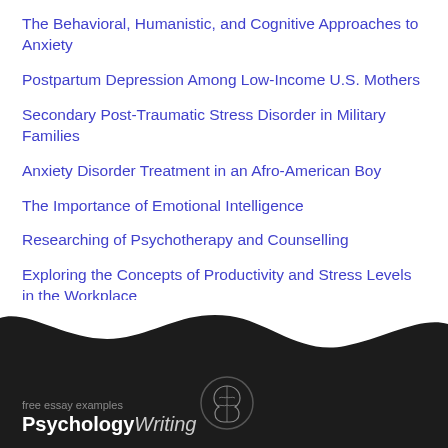The Behavioral, Humanistic, and Cognitive Approaches to Anxiety
Postpartum Depression Among Low-Income U.S. Mothers
Secondary Post-Traumatic Stress Disorder in Military Families
Anxiety Disorder Treatment in an Afro-American Boy
The Importance of Emotional Intelligence
Researching of Psychotherapy and Counselling
Exploring the Concepts of Productivity and Stress Levels in the Workplace
Patient's Concentration: Applied Behavior Analysis
Free price quote for your paper →
free essay examples PsychologyWriting